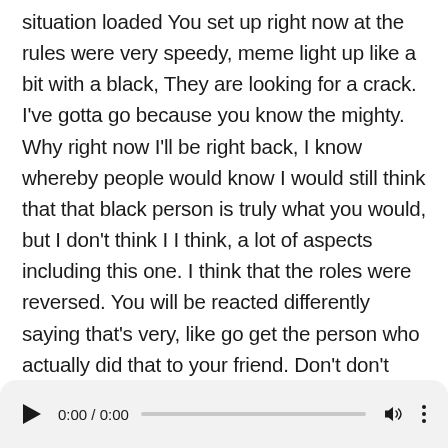situation loaded You set up right now at the rules were very speedy, meme light up like a bit with a black, They are looking for a crack. I've gotta go because you know the mighty. Why right now I'll be right back, I know whereby people would know I would still think that that black person is truly what you would, but I don't think I I think, a lot of aspects including this one. I think that the roles were reversed. You will be reacted differently saying that's very, like go get the person who actually did that to your friend. Don't don't don't as why net Sabrina Good morning, I would listen clear donkey of the day, and I did read about LEO Meeting yesterday and I was really disappointed because I have always been a fan of it, but no, he felt was saying how do you feel, but he should be prepared for the pre prepared for the backlash.
[Figure (other): Audio player bar with play button, time display 0:00 / 0:00, progress bar, volume icon, and more options icon]